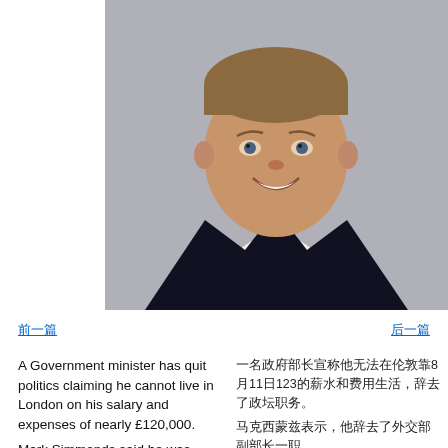[Figure (photo): Portrait photo of a man in a dark suit with a blue/grey patterned tie, smiling, against a grey background. The man is identified in the article as Mark Simmonds.]
前一篇
后一篇
A Government minister has quit politics claiming he cannot live in London on his salary and expenses of nearly £120,000.
Mark Simmonds said he was quitting as a Foreign Office minister and was standing down as an MP.
一名政府部长宣称他无法在伦敦靠8月12日123的薪水和费用生活，辞去了政坛职务。
马克西蒙兹表示，他辞去了外交部副部长一职。